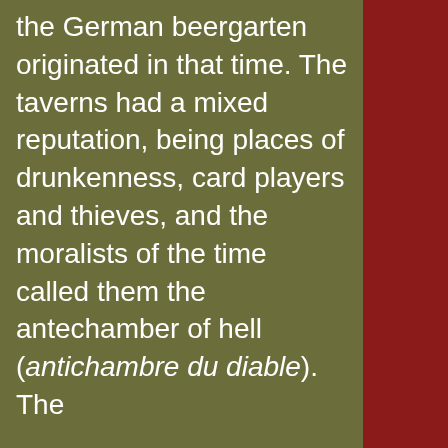the German beergarten originated in that time. The taverns had a mixed reputation, being places of drunkenness, card players and thieves, and the moralists of the time called them the antechamber of hell (antichambre du diable). The